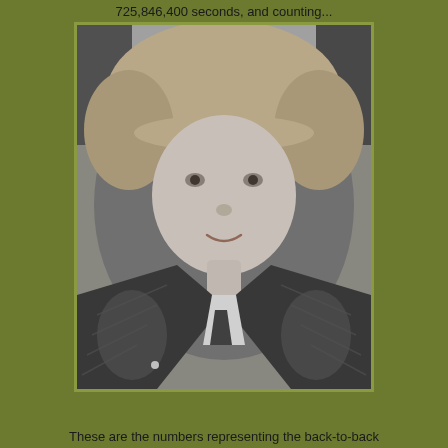725,846,400 seconds, and counting...
[Figure (photo): Black and white portrait photo of a middle-aged woman with short blonde hair and bangs, wearing a denim jacket and a beaded necklace, appearing to be sitting in a car seat, looking up toward the camera with a slight smile.]
These are the numbers representing the back-to-back